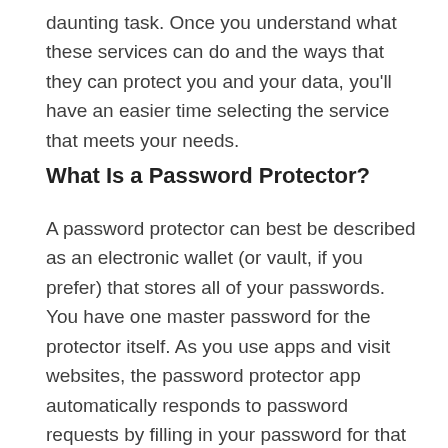daunting task. Once you understand what these services can do and the ways that they can protect you and your data, you'll have an easier time selecting the service that meets your needs.
What Is a Password Protector?
A password protector can best be described as an electronic wallet (or vault, if you prefer) that stores all of your passwords. You have one master password for the protector itself. As you use apps and visit websites, the password protector app automatically responds to password requests by filling in your password for that site.